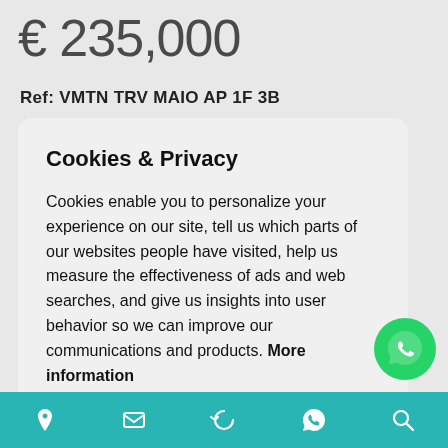€ 235,000
Ref: VMTN TRV MAIO AP 1F 3B
Cookies & Privacy
Cookies enable you to personalize your experience on our site, tell us which parts of our websites people have visited, help us measure the effectiveness of ads and web searches, and give us insights into user behavior so we can improve our communications and products. More information
Accept Cookies
Customise Cookies
[Figure (logo): WhatsApp green circular logo button]
Bottom navigation bar with location, email, refresh, WhatsApp, and search icons